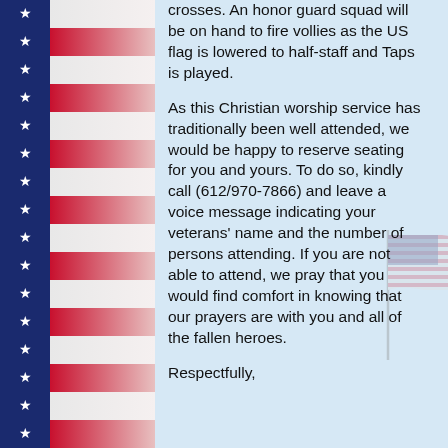[Figure (illustration): American flag stripe border on left side of page with blue star field and alternating red and white stripes, plus a waving US flag watermark in center-right area]
crosses. An honor guard squad will be on hand to fire vollies as the US flag is lowered to half-staff and Taps is played.
As this Christian worship service has traditionally been well attended, we would be happy to reserve seating for you and yours. To do so, kindly call (612/970-7866) and leave a voice message indicating your veterans' name and the number of persons attending. If you are not able to attend, we pray that you would find comfort in knowing that our prayers are with you and all of the fallen heroes.
Respectfully,